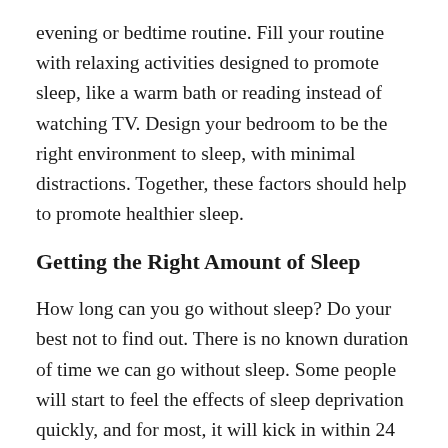evening or bedtime routine. Fill your routine with relaxing activities designed to promote sleep, like a warm bath or reading instead of watching TV. Design your bedroom to be the right environment to sleep, with minimal distractions. Together, these factors should help to promote healthier sleep.
Getting the Right Amount of Sleep
How long can you go without sleep? Do your best not to find out. There is no known duration of time we can go without sleep. Some people will start to feel the effects of sleep deprivation quickly, and for most, it will kick in within 24 hours of no sleep.